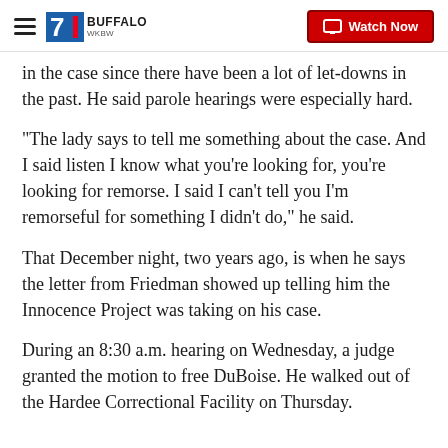7 Buffalo (WKBW) — Watch Now
in the case since there have been a lot of let-downs in the past. He said parole hearings were especially hard.
"The lady says to tell me something about the case. And I said listen I know what you’re looking for, you’re looking for remorse. I said I can’t tell you I’m remorseful for something I didn’t do," he said.
That December night, two years ago, is when he says the letter from Friedman showed up telling him the Innocence Project was taking on his case.
During an 8:30 a.m. hearing on Wednesday, a judge granted the motion to free DuBoise. He walked out of the Hardee Correctional Facility on Thursday.